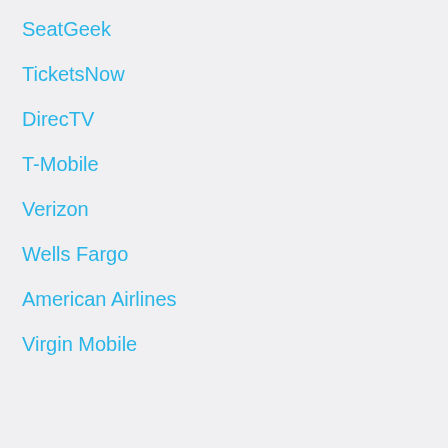SeatGeek
TicketsNow
DirecTV
T-Mobile
Verizon
Wells Fargo
American Airlines
Virgin Mobile